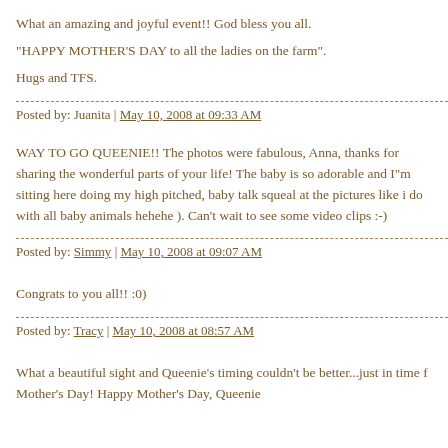What an amazing and joyful event!! God bless you all.

"HAPPY MOTHER'S DAY to all the ladies on the farm".

Hugs and TFS.
Posted by: Juanita | May 10, 2008 at 09:33 AM
WAY TO GO QUEENIE!! The photos were fabulous, Anna, thanks for sharing the wonderful parts of your life! The baby is so adorable and I"m sitting here doing my high pitched, baby talk squeal at the pictures like i do with all baby animals hehehe ). Can't wait to see some video clips :-)
Posted by: Simmy | May 10, 2008 at 09:07 AM
Congrats to you all!! :0)
Posted by: Tracy | May 10, 2008 at 08:57 AM
What a beautiful sight and Queenie's timing couldn't be better...just in time for Mother's Day! Happy Mother's Day, Queenie